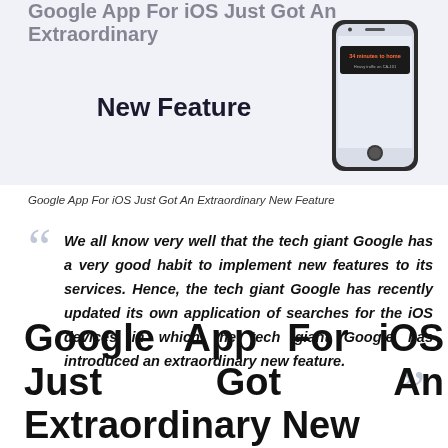[Figure (illustration): Banner image showing a smartphone displaying a Google traffic/navigation notification reading '34 minutes to home — Heavy traffic on CA-101', with bold text overlay 'New Feature' on a light blue/grey background.]
Google App For iOS Just Got An Extraordinary New Feature
We all know very well that the tech giant Google has a very good habit to implement new features to its services. Hence, the tech giant Google has recently updated its own application of searches for the iOS devices in which the tech giant Google has introduced an extraordinary new feature.
Google App For iOS Just Got An Extraordinary New